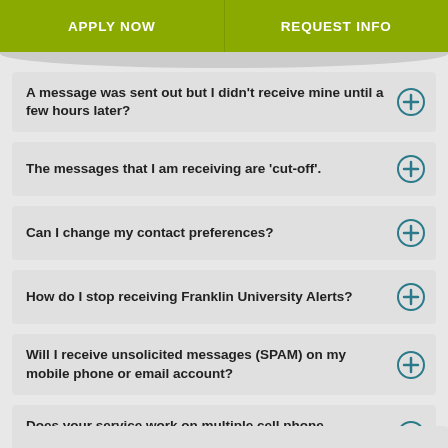APPLY NOW | REQUEST INFO
A message was sent out but I didn't receive mine until a few hours later?
The messages that I am receiving are 'cut-off'.
Can I change my contact preferences?
How do I stop receiving Franklin University Alerts?
Will I receive unsolicited messages (SPAM) on my mobile phone or email account?
Does your service work on multiple cell phone networks?